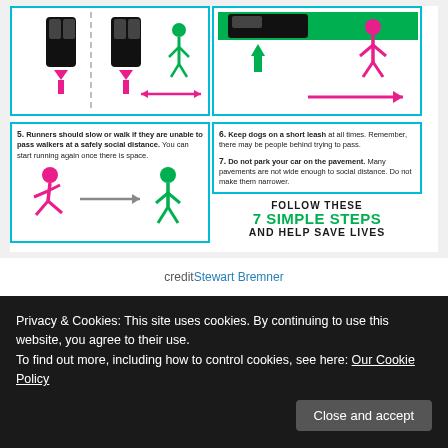[Figure (infographic): Social distancing rules infographic showing steps 5-7. Step 5: Runners should slow or walk if they are unable to pass walkers at a safely social distance. Step 6: Keep dogs on a short leash at all times. Step 7: Do not park your car on the pavement. Ends with 'Follow these 7 simple steps and help save lives'.]
credit Stewart Bremner
Privacy & Cookies: This site uses cookies. By continuing to use this website, you agree to their use. To find out more, including how to control cookies, see here: Our Cookie Policy